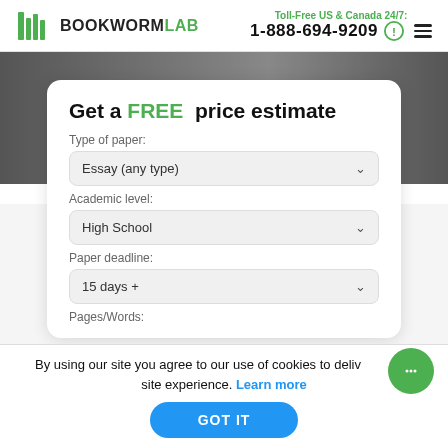BOOKWORMLAB | Toll-Free US & Canada 24/7: 1-888-694-9209
Get a FREE price estimate
Type of paper:
Essay (any type)
Academic level:
High School
Paper deadline:
15 days +
Pages/Words:
By using our site you agree to our use of cookies to deliver a better site experience. Learn more
GOT IT